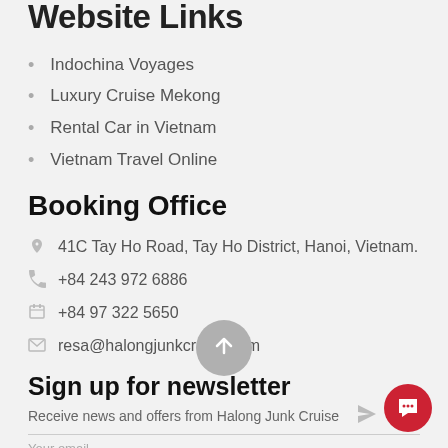Website Links
Indochina Voyages
Luxury Cruise Mekong
Rental Car in Vietnam
Vietnam Travel Online
Booking Office
41C Tay Ho Road, Tay Ho District, Hanoi, Vietnam.
+84 243 972 6886
+84 97 322 5650
resa@halongjunkcruise.com
Sign up for newsletter
Receive news and offers from Halong Junk Cruise